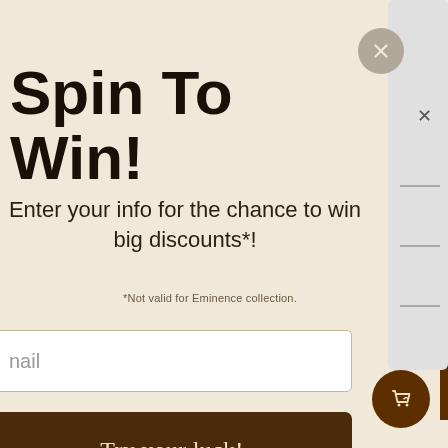Spin To Win!
Enter your info for the chance to win big discounts*!
*Not valid for Eminence collection.
nail
Try your luck!